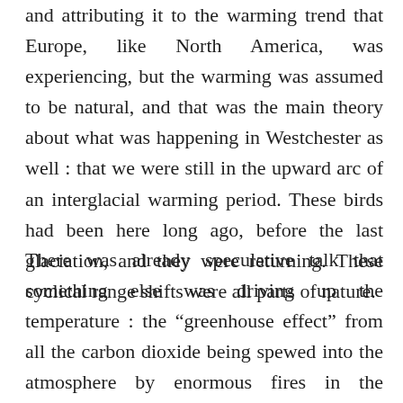and attributing it to the warming trend that Europe, like North America, was experiencing, but the warming was assumed to be natural, and that was the main theory about what was happening in Westchester as well : that we were still in the upward arc of an interglacial warming period. These birds had been here long ago, before the last glaciation, and they were returning. These cyclical range shifts were all parts of nature.
There was already speculative talk that something else was driving up the temperature : the “greenhouse effect” from all the carbon dioxide being spewed into the atmosphere by enormous fires in the Amazon,  tens of millions of cars on the road in America at any given